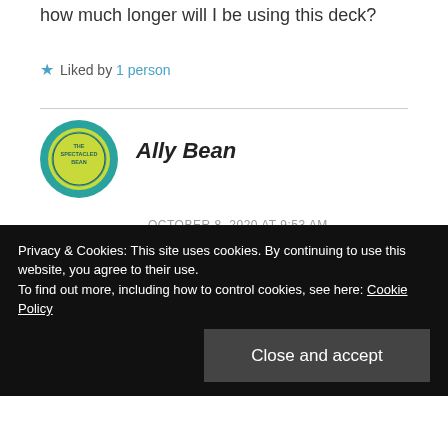how much longer will I be using this deck?
Liked by 1 person
Ally Bean
OCTOBER 8, 2020 AT 9:53 AM
Maggie, yes we are both grateful that he didn't get hurt. The look on his face when he landed was one of complete
Privacy & Cookies: This site uses cookies. By continuing to use this website, you agree to their use. To find out more, including how to control cookies, see here: Cookie Policy
Close and accept